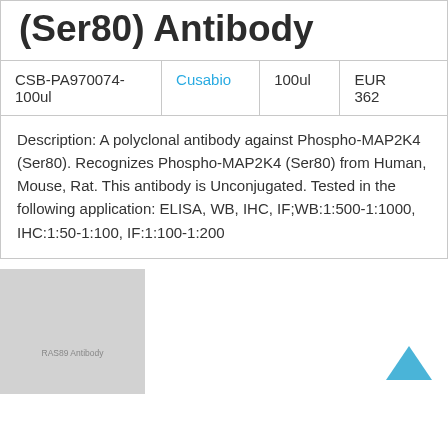(Ser80) Antibody
|  |  |  |  |
| --- | --- | --- | --- |
| CSB-PA970074-100ul | Cusabio | 100ul | EUR 362 |
Description: A polyclonal antibody against Phospho-MAP2K4 (Ser80). Recognizes Phospho-MAP2K4 (Ser80) from Human, Mouse, Rat. This antibody is Unconjugated. Tested in the following application: ELISA, WB, IHC, IF;WB:1:500-1:1000, IHC:1:50-1:100, IF:1:100-1:200
[Figure (photo): Product thumbnail image placeholder with label 'RAS89 Antibody']